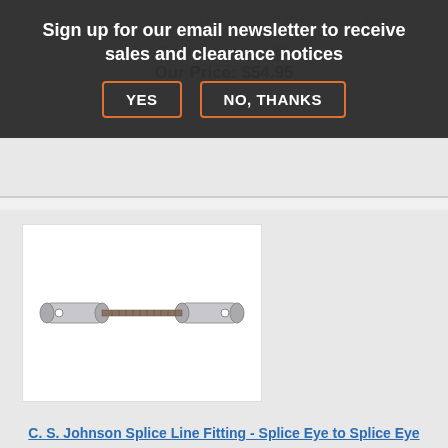[Figure (screenshot): Email newsletter signup overlay banner with dark semi-transparent background, text 'Sign up for our email newsletter to receive sales and clearance notices', and two buttons: YES and NO, THANKS with orange borders]
Our Price: $54.95
[Figure (photo): Product photo of a C.S. Johnson Splice Line Fitting - Splice Eye to Splice Eye, a metal turnbuckle/fitting with cylindrical ends and threaded rod in the middle, on white background]
C. S. Johnson Splice Line Fitting - Splice Eye to Splice Eye